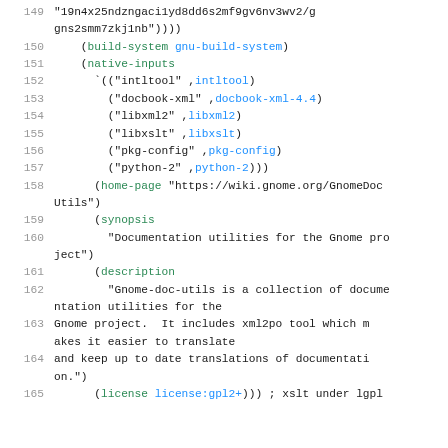149   "19n4x25ndzngaci1yd8dd6s2mf9gv6nv3wv2/ggns2smm7zkj1nb"))))
150   (build-system gnu-build-system)
151   (native-inputs
152     `(("intltool" ,intltool)
153       ("docbook-xml" ,docbook-xml-4.4)
154       ("libxml2" ,libxml2)
155       ("libxslt" ,libxslt)
156       ("pkg-config" ,pkg-config)
157       ("python-2" ,python-2)))
158   (home-page "https://wiki.gnome.org/GnomeDocUtils")
159     (synopsis
160       "Documentation utilities for the Gnome project")
161     (description
162       "Gnome-doc-utils is a collection of documentation utilities for the
163 Gnome project.  It includes xml2po tool which makes it easier to translate
164 and keep up to date translations of documentation.")
165     (license license:gpl2+))) ; xslt under lgpl